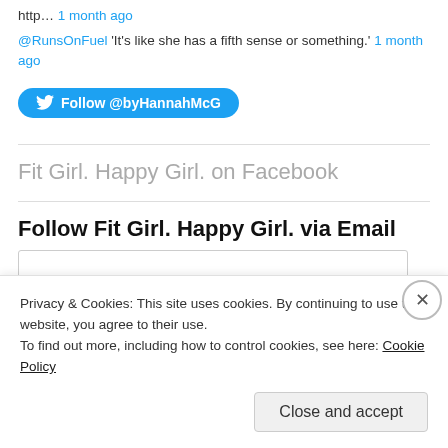http… 1 month ago
@RunsOnFuel 'It's like she has a fifth sense or something.' 1 month ago
[Figure (other): Twitter Follow button: Follow @byHannahMcG]
Fit Girl. Happy Girl. on Facebook
Follow Fit Girl. Happy Girl. via Email
Privacy & Cookies: This site uses cookies. By continuing to use this website, you agree to their use.
To find out more, including how to control cookies, see here: Cookie Policy
Close and accept